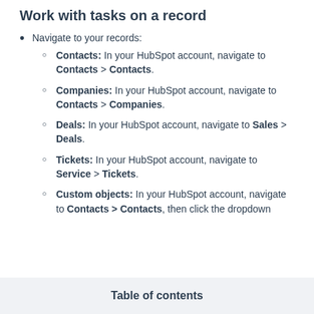Work with tasks on a record
Navigate to your records:
Contacts: In your HubSpot account, navigate to Contacts > Contacts.
Companies: In your HubSpot account, navigate to Contacts > Companies.
Deals: In your HubSpot account, navigate to Sales > Deals.
Tickets: In your HubSpot account, navigate to Service > Tickets.
Custom objects: In your HubSpot account, navigate to Contacts > Contacts, then click the dropdown
Table of contents